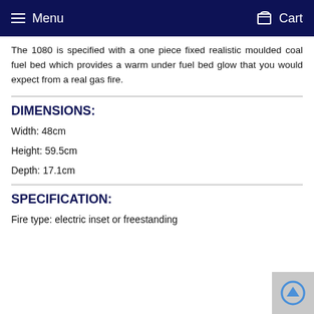Menu  Cart
The 1080 is specified with a one piece fixed realistic moulded coal fuel bed which provides a warm under fuel bed glow that you would expect from a real gas fire.
DIMENSIONS:
Width: 48cm
Height: 59.5cm
Depth: 17.1cm
SPECIFICATION:
Fire type: electric inset or freestanding